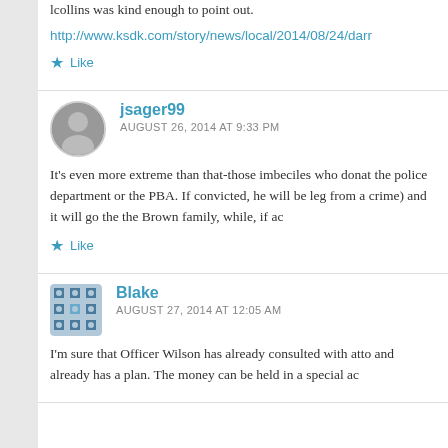lcollins was kind enough to point out.
http://www.ksdk.com/story/news/local/2014/08/24/darr
Like
jsager99
AUGUST 26, 2014 AT 9:33 PM
It's even more extreme than that-those imbeciles who donat the police department or the PBA. If convicted, he will be leg from a crime) and it will go the the Brown family, while, if ac
Like
Blake
AUGUST 27, 2014 AT 12:05 AM
I'm sure that Officer Wilson has already consulted with atto and already has a plan. The money can be held in a special ac